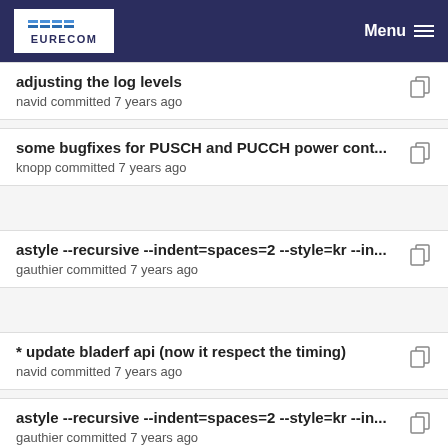EURECOM  Menu
adjusting the log levels
navid committed 7 years ago
some bugfixes for PUSCH and PUCCH power cont...
knopp committed 7 years ago
astyle --recursive --indent=spaces=2 --style=kr --in...
gauthier committed 7 years ago
* update bladerf api (now it respect the timing)
navid committed 7 years ago
astyle --recursive --indent=spaces=2 --style=kr --in...
gauthier committed 7 years ago